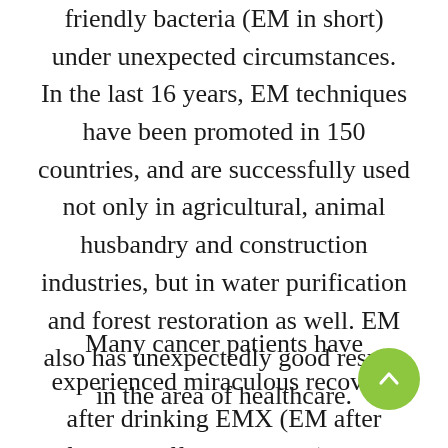friendly bacteria (EM in short) under unexpected circumstances. In the last 16 years, EM techniques have been promoted in 150 countries, and are successfully used not only in agricultural, animal husbandry and construction industries, but in water purification and forest restoration as well. EM also has unexpectedly good results in the area of healthcare.
Many cancer patients have experienced miraculous recovery after drinking EMX (EM after filtering off live bacteria) EM1 (EM with live bacteria). The EM distributor in Singapore shared some of